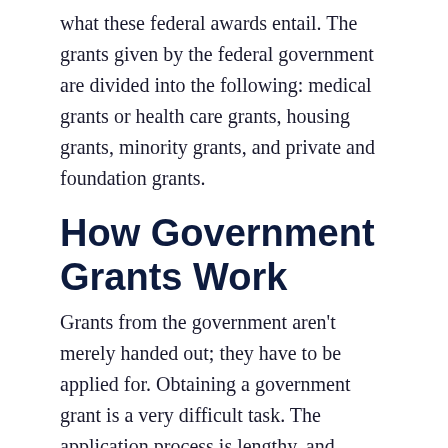what these federal awards entail. The grants given by the federal government are divided into the following: medical grants or health care grants, housing grants, minority grants, and private and foundation grants.
How Government Grants Work
Grants from the government aren't merely handed out; they have to be applied for. Obtaining a government grant is a very difficult task. The application process is lengthy, and applicants must explain how the funding will help the local community or the general public. Because writing a convincing proposal is so difficult, many applicants seek expert assistance.